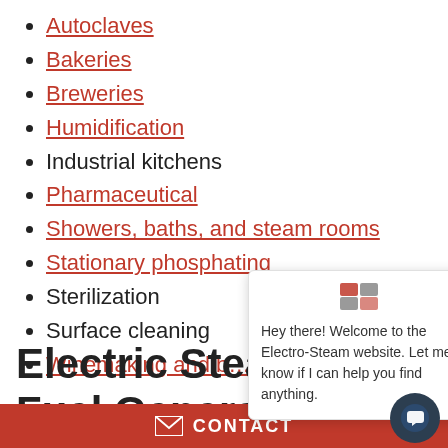Autoclaves
Bakeries
Breweries
Humidification
Industrial kitchens
Pharmaceutical
Showers, baths, and steam rooms
Stationary phosphating
Sterilization
Surface cleaning
Winemaking and b…
Electric Steam Fuel Generator
When it comes to choosing a generator, not all options are created equal. Dual-fuel generators have quite a few…
[Figure (screenshot): Chat popup widget showing Electro-Steam logo and welcome message: Hey there! Welcome to the Electro-Steam website. Let me know if I can help you find anything.]
CONTACT